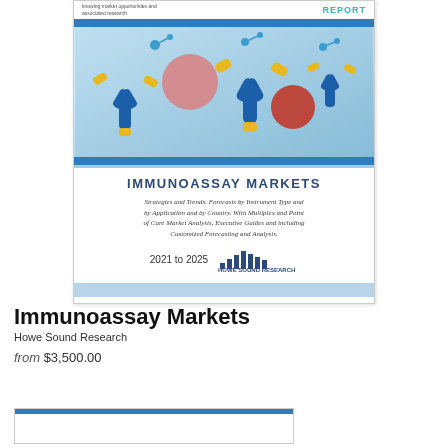[Figure (illustration): Book/report cover for 'Immunoassay Markets' by Howe Sound Research. Shows antibody molecules (Y-shaped blue structures with yellow tips) and cell-like red/pink spheres on a blue gradient background. Top has 'REPORT' label in teal. Cover text includes title 'IMMUNOASSAY MARKETS', subtitle about strategies, trends, forecasts, and '2021 to 2025' date range with Howe Sound Research logo.]
Immunoassay Markets
Howe Sound Research
from $3,500.00